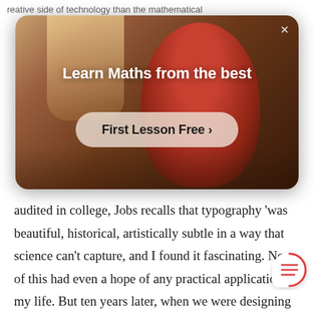reative side of technology than the mathematical
[Figure (screenshot): Modal advertisement overlay showing a person in a classroom/gym setting with arms outstretched. White title text reads 'Learn Maths from the best' with a pill-shaped button 'First Lesson Free >' and an X close button in the top right.]
audited in college, Jobs recalls that typography 'was beautiful, historical, artistically subtle in a way that science can't capture, and I found it fascinating. None of this had even a hope of any practical application in my life. But ten years later, when we were designing the first Macintosh computer, it all came back to me. And we de d it all into the Mac. It was the first computer with